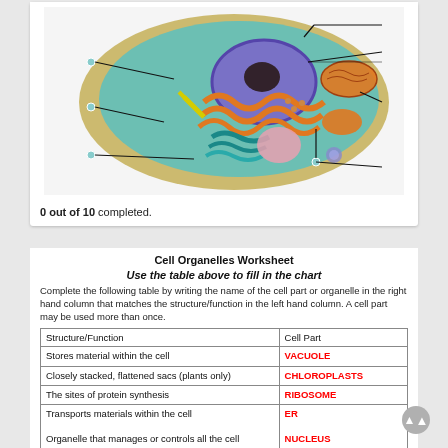[Figure (illustration): Labeled diagram of an animal cell cross-section showing organelles with pointer lines and dot markers. Organelle labels are blank (fill-in activity). The cell shows nucleus, mitochondria, endoplasmic reticulum, golgi apparatus, ribosomes, vacuole, and other structures in a colorful illustration.]
0 out of 10 completed.
Cell Organelles Worksheet
Use the table above to fill in the chart
Complete the following table by writing the name of the cell part or organelle in the right hand column that matches the structure/function in the left hand column. A cell part may be used more than once.
| Structure/Function | Cell Part |
| --- | --- |
| Stores material within the cell | VACUOLE |
| Closely stacked, flattened sacs (plants only) | CHLOROPLASTS |
| The sites of protein synthesis | RIBOSOME |
| Transports materials within the cell | ER |
| Organelle that manages or controls all the cell functions in a eukaryotic cell | NUCLEUS |
| Contains chlorophyll, a green pigment that traps energy from sunlight and gives plants their green color | CHLOROPLASTS |